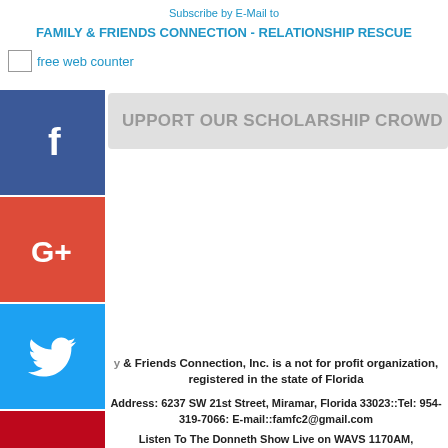Subscribe by E-Mail to
FAMILY & FRIENDS CONNECTION - RELATIONSHIP RESCUE
free web counter
[Figure (illustration): Vertical strip of social media icon buttons: Facebook (blue), Google+ (red), Twitter (light blue), Pinterest (dark red), Blogger (orange), YouTube (red), More/ellipsis (gray)]
SUPPORT OUR SCHOLARSHIP CROWD FUNDING
y & Friends Connection, Inc. is a not for profit organization, registered in the state of Florida
Address: 6237 SW 21st Street, Miramar, Florida 33023::Tel: 954-319-7066: E-mail::famfc2@gmail.com
Listen To The Donneth Show Live on WAVS 1170AM,